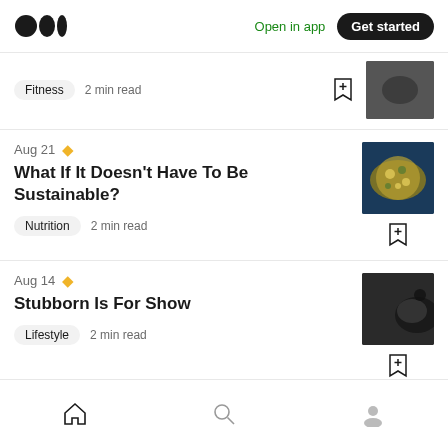Medium logo | Open in app | Get started
Fitness · 2 min read
Aug 21 ★ What If It Doesn't Have To Be Sustainable? · Nutrition · 2 min read
Aug 14 ★ Stubborn Is For Show · Lifestyle · 2 min read
Home | Search | Profile